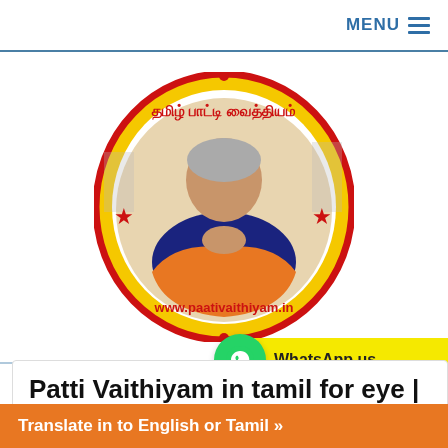MENU
[Figure (logo): Oval logo with Tamil text and 'www.paativaithiyam.in', showing an elderly woman in orange saree with hands folded in namaste, yellow background with red border and red stars]
WhatsApp us
Patti Vaithiyam in tamil for eye | | kai Vaithiyam
Translate in to English or Tamil »